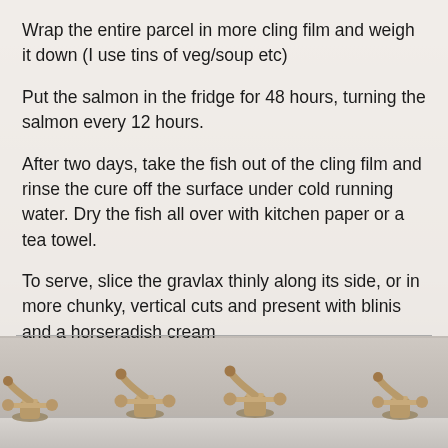Wrap the entire parcel in more cling film and weigh it down (I use tins of veg/soup etc)
Put the salmon in the fridge for 48 hours, turning the salmon every 12 hours.
After two days, take the fish out of the cling film and rinse the cure off the surface under cold running water. Dry the fish all over with kitchen paper or a tea towel.
To serve, slice the gravlax thinly along its side, or in more chunky, vertical cuts and present with blinis and a horseradish cream
[Figure (photo): Bottom portion showing decorative brass faucet fixtures against a light background]